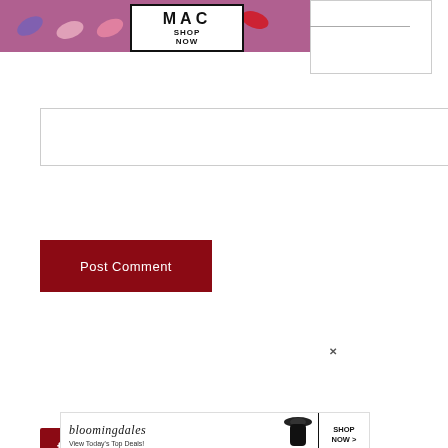[Figure (illustration): MAC cosmetics advertisement banner with lipsticks, MAC logo, and SHOP NOW button]
[Figure (screenshot): Empty comment input text box with border]
[Figure (screenshot): Post Comment button in dark red]
[Figure (screenshot): Social media icons row: Facebook, Twitter, Instagram in dark red squares]
[Figure (screenshot): Search bar with placeholder text Search... and black search button with magnifying glass icon]
[Figure (photo): 37 Genius Amazon Products That Can Be Used By Anyone - advertisement with purple headphones background, close button]
[Figure (illustration): Bloomingdales advertisement: View Today's Top Deals with SHOP NOW button]